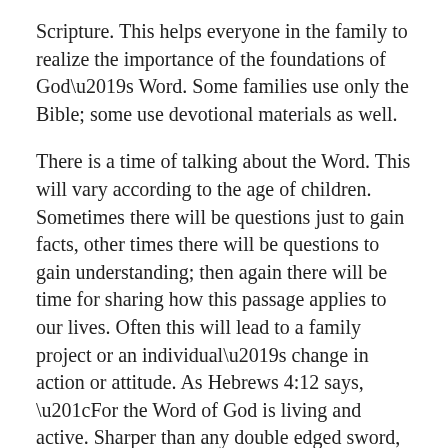Scripture. This helps everyone in the family to realize the importance of the foundations of God's Word. Some families use only the Bible; some use devotional materials as well.
There is a time of talking about the Word. This will vary according to the age of children. Sometimes there will be questions just to gain facts, other times there will be questions to gain understanding; then again there will be time for sharing how this passage applies to our lives. Often this will lead to a family project or an individual's change in action or attitude. As Hebrews 4:12 says, “For the Word of God is living and active. Sharper than any double edged sword, it penetrates even to dividing soul and spirit, joints and marrow; it judges the thoughts and attitudes of the heart.”